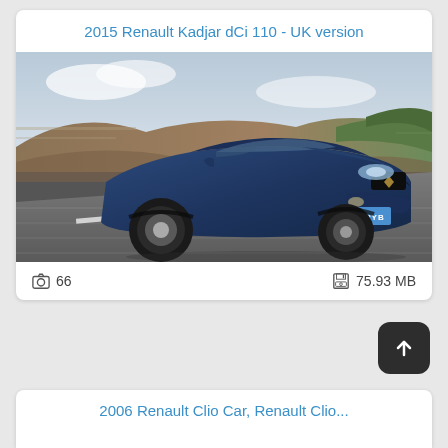2015 Renault Kadjar dCi 110 - UK version
[Figure (photo): A dark blue 2015 Renault Kadjar dCi 110 UK version driving on a road, motion blur background, moorland scenery, UK number plate HY65 PYB]
📷 66   🖫 75.93 MB
2006 Renault Clio Car, Renault Clio...